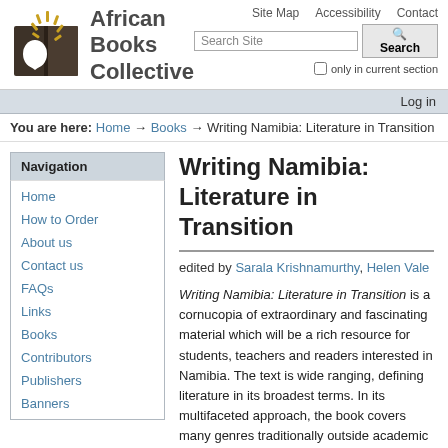Site Map   Accessibility   Contact
[Figure (logo): African Books Collective logo: dark book with Africa continent silhouette and golden sunburst, beside text 'African Books Collective']
Search Site [input] Search | only in current section
Log in
You are here: Home → Books → Writing Namibia: Literature in Transition
Navigation
Home
How to Order
About us
Contact us
FAQs
Links
Books
Contributors
Publishers
Banners
Writing Namibia: Literature in Transition
edited by Sarala Krishnamurthy, Helen Vale
Writing Namibia: Literature in Transition is a cornucopia of extraordinary and fascinating material which will be a rich resource for students, teachers and readers interested in Namibia. The text is wide ranging, defining literature in its broadest terms. In its multifaceted approach, the book covers many genres traditionally outside academic literary discourse and debate. The 22 chapters cover literature of all categories in